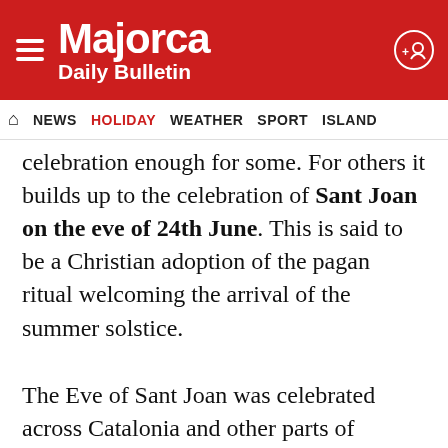Majorca Daily Bulletin
NEWS  HOLIDAY  WEATHER  SPORT  ISLAND
celebration enough for some. For others it builds up to the celebration of Sant Joan on the eve of 24th June. This is said to be a Christian adoption of the pagan ritual welcoming the arrival of the summer solstice.
The Eve of Sant Joan was celebrated across Catalonia and other parts of Europe by lighting large bonfires which would be kept going throughout the night to give light and warmth to the celebration. Fire and water are essential in the celebration and set the scene for what we